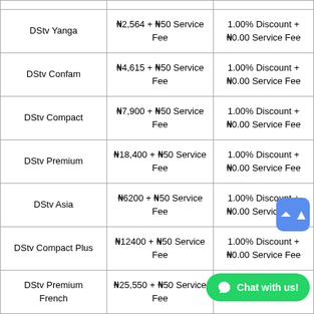| Package | Price | Discount |
| --- | --- | --- |
| DStv Yanga | ₦2,564 + ₦50 Service Fee | 1.00% Discount + ₦0.00 Service Fee |
| DStv Confam | ₦4,615 + ₦50 Service Fee | 1.00% Discount + ₦0.00 Service Fee |
| DStv Compact | ₦7,900 + ₦50 Service Fee | 1.00% Discount + ₦0.00 Service Fee |
| DStv Premium | ₦18,400 + ₦50 Service Fee | 1.00% Discount + ₦0.00 Service Fee |
| DStv Asia | ₦6200 + ₦50 Service Fee | 1.00% Discount + ₦0.00 Service Fee |
| DStv Compact Plus | ₦12400 + ₦50 Service Fee | 1.00% Discount + ₦0.00 Service Fee |
| DStv Premium French | ₦25,550 + ₦50 Service Fee | 1.00% Discount + |
|  | ₦20,500 + ₦50 | 1.00% Discount + |